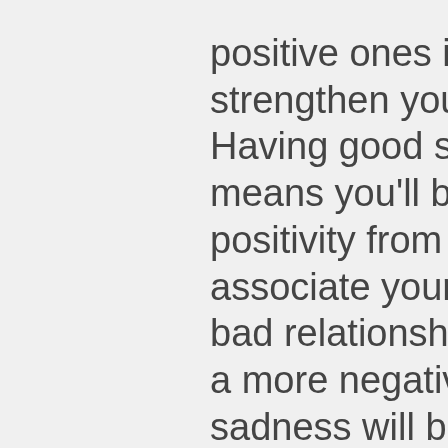positive ones is to develop and strengthen your relationships. Having good social relationships means you'll be receiving more positivity from the people you associate yourself with. If you're in a bad relationship, you'll surely have a more negative outlook. Anger and sadness will build up inside you so it is important to build strong social connections with your friends and family.
It'll also enhance your feeling of self-worth. Moreover, you can turn into an optimist by choosing to accept yourself